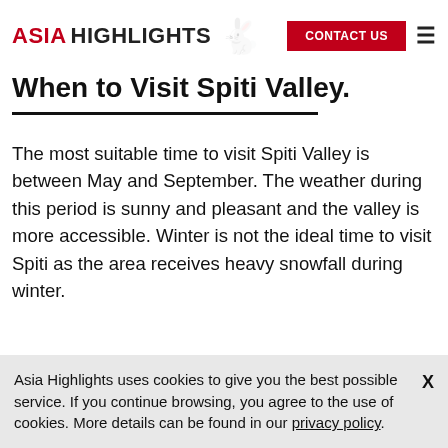ASIA HIGHLIGHTS  CONTACT US
When to Visit Spiti Valley.
The most suitable time to visit Spiti Valley is between May and September. The weather during this period is sunny and pleasant and the valley is more accessible. Winter is not the ideal time to visit Spiti as the area receives heavy snowfall during winter.
Top 12 Places to Visit in Spiti
Asia Highlights uses cookies to give you the best possible service. If you continue browsing, you agree to the use of cookies. More details can be found in our privacy policy.